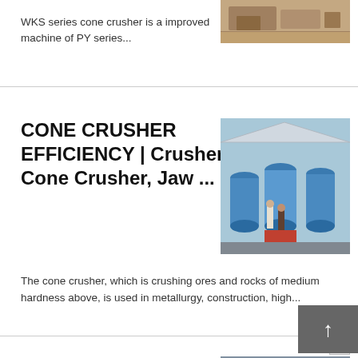WKS series cone crusher is a improved machine of PY series...
[Figure (photo): Outdoor industrial machinery/crusher equipment photo]
CONE CRUSHER EFFICIENCY | Crusher Mills, Cone Crusher, Jaw ...
[Figure (photo): Industrial factory interior with large blue cone crusher machines and two people standing]
The cone crusher, which is crushing ores and rocks of medium hardness above, is used in metallurgy, construction, high...
[Figure (photo): Small broken image icon]
cone stone crusher machine with high
[Figure (photo): Outdoor stone crusher machine with workers]